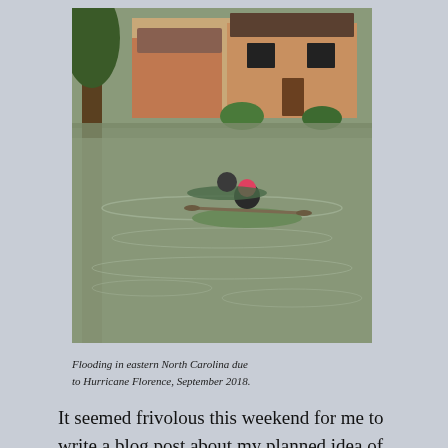[Figure (photo): A person in a kayak paddling through a flooded residential street in eastern North Carolina. Houses and trees are visible in the background. The floodwaters cover the road completely.]
Flooding in eastern North Carolina due to Hurricane Florence, September 2018.
It seemed frivolous this weekend for me to write a blog post about my planned idea of highlighting a line I like from a novel. This afternoon I still feel guilty for being able to sit in the comfort of my home, with electricity and no danger of flooding, to write such a post. Nevertheless, I decided to go ahead as planned